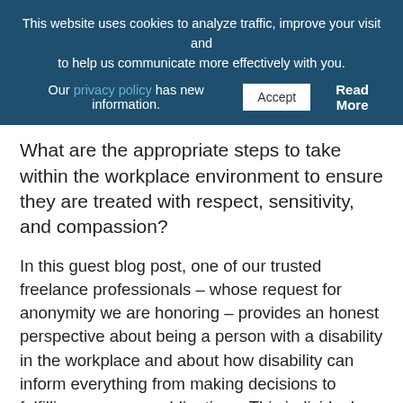This website uses cookies to analyze traffic, improve your visit and to help us communicate more effectively with you.
Our privacy policy has new information. Accept Read More
What are the appropriate steps to take within the workplace environment to ensure they are treated with respect, sensitivity, and compassion?
In this guest blog post, one of our trusted freelance professionals – whose request for anonymity we are honoring – provides an honest perspective about being a person with a disability in the workplace and about how disability can inform everything from making decisions to fulfilling necessary obligations. This individual also had a candid discussion with our resources manager Nilofer Ali intended to help readers gain a better understanding perspective that still is largely absent from many cur workplaces.